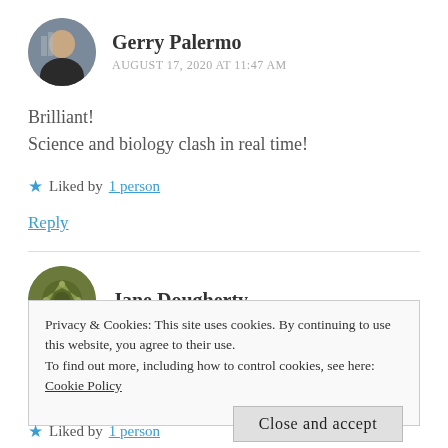[Figure (photo): Circular avatar photo of Gerry Palermo, a man outdoors in a city setting]
Gerry Palermo
AUGUST 17, 2020 AT 11:47 AM
Brilliant!
Science and biology clash in real time!
★ Liked by 1 person
Reply
[Figure (illustration): Circular avatar icon for Jane Dougherty, decorative pattern in olive/dark green]
Jane Dougherty
Privacy & Cookies: This site uses cookies. By continuing to use this website, you agree to their use.
To find out more, including how to control cookies, see here: Cookie Policy
Close and accept
★ Liked by 1 person